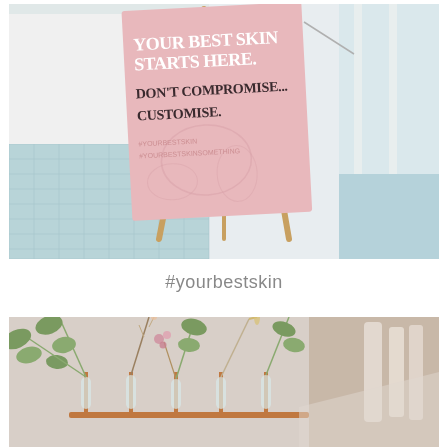[Figure (photo): A pink sign on a wooden easel near a window reading 'YOUR BEST SKIN STARTS HERE. DON'T COMPROMISE... CUSTOMISE.' with floral watermark designs, set in a bright room with a blue tiled floor visible in the background.]
#yourbestskin
[Figure (photo): Close-up of elegant botanical arrangement featuring eucalyptus leaves and delicate dried flowers in glass test tube vases on a copper rack, with skincare product bottles visible in the blurred background.]